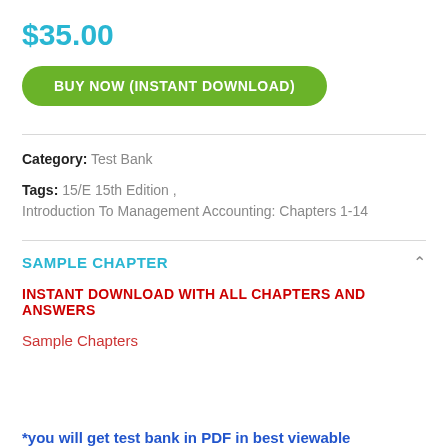$35.00
BUY NOW (INSTANT DOWNLOAD)
Category: Test Bank
Tags: 15/E 15th Edition , Introduction To Management Accounting: Chapters 1-14
SAMPLE CHAPTER
INSTANT DOWNLOAD WITH ALL CHAPTERS AND ANSWERS
Sample Chapters
*you will get test bank in PDF in best viewable